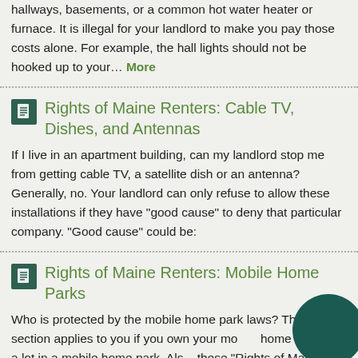hallways, basements, or a common hot water heater or furnace. It is illegal for your landlord to make you pay those costs alone. For example, the hall lights should not be hooked up to your… More
Rights of Maine Renters: Cable TV, Dishes, and Antennas
If I live in an apartment building, can my landlord stop me from getting cable TV, a satellite dish or an antenna? Generally, no. Your landlord can only refuse to allow these installations if they have "good cause" to deny that particular company. "Good cause" could be:
Rights of Maine Renters: Mobile Home Parks
Who is protected by the mobile home park laws? This section applies to you if you own your mobile home and rent a lot in a mobile home park. Also, these "Rights of Maine Renters" articles apply to you: